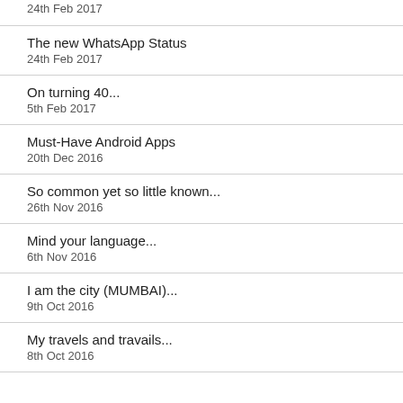24th Feb 2017
The new WhatsApp Status
24th Feb 2017
On turning 40...
5th Feb 2017
Must-Have Android Apps
20th Dec 2016
So common yet so little known...
26th Nov 2016
Mind your language...
6th Nov 2016
I am the city (MUMBAI)...
9th Oct 2016
My travels and travails...
8th Oct 2016